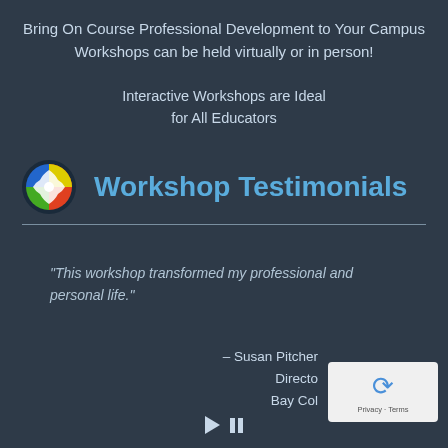Bring On Course Professional Development to Your Campus
Workshops can be held virtually or in person!
Interactive Workshops are Ideal
for All Educators
Workshop Testimonials
“This workshop transformed my professional and personal life.”
– Susan Pitcher
Directo[r]
Bay Col[lege]